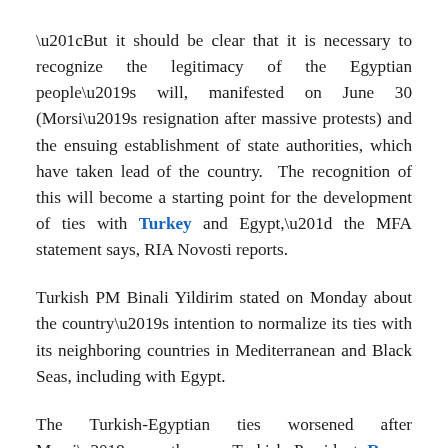“But it should be clear that it is necessary to recognize the legitimacy of the Egyptian people’s will, manifested on June 30 (Morsi’s resignation after massive protests) and the ensuing establishment of state authorities, which have taken lead of the country. The recognition of this will become a starting point for the development of ties with Turkey and Egypt,” the MFA statement says, RIA Novosti reports.
Turkish PM Binali Yildirim stated on Monday about the country’s intention to normalize its ties with its neighboring countries in Mediterranean and Black Seas, including with Egypt.
The Turkish-Egyptian ties worsened after Morsi’s overthrow. Turkish President Recep Tayyip Erdoğan then strongly condemned the actions of the Egyptian authorities.